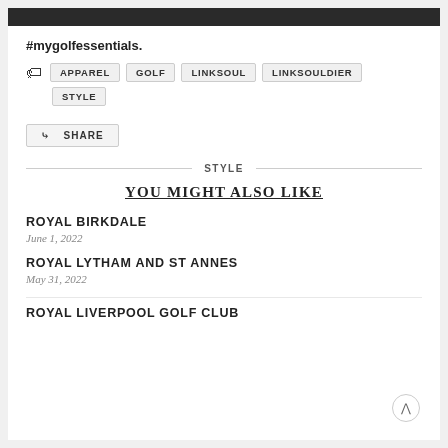#mygolfessentials.
APPAREL  GOLF  LINKSOUL  LINKSOULDIER  STYLE
SHARE
STYLE
YOU MIGHT ALSO LIKE
ROYAL BIRKDALE
June 1, 2022
ROYAL LYTHAM AND ST ANNES
May 31, 2022
ROYAL LIVERPOOL GOLF CLUB